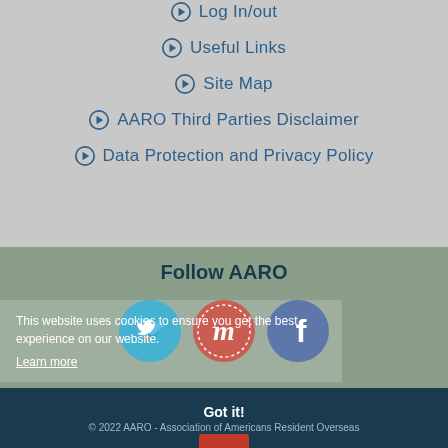Log In/out
Useful Links
Site Map
AARO Third Parties Disclaimer
Data Protection and Privacy Policy
Follow AARO
[Figure (illustration): Three social media icons: Twitter (blue circle with bird), Meetup (red circle with M logo), Facebook (dark blue circle with f logo)]
This website uses cookies to ensure you get the best experience on our website. Learn more
Got it!
© 2022 AARO - Association of Americans Resident Overseas